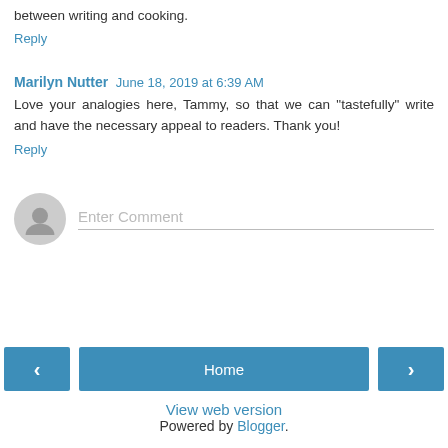between writing and cooking.
Reply
Marilyn Nutter  June 18, 2019 at 6:39 AM
Love your analogies here, Tammy, so that we can "tastefully" write and have the necessary appeal to readers. Thank you!
Reply
Enter Comment
Home
View web version
Powered by Blogger.